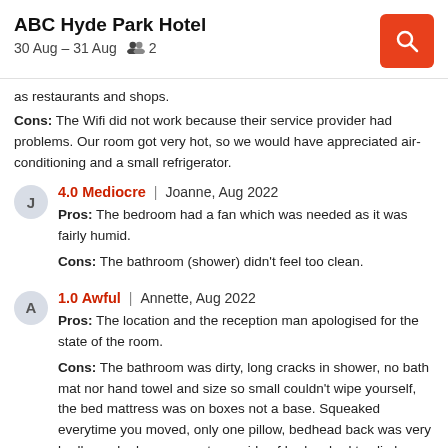ABC Hyde Park Hotel
30 Aug – 31 Aug   2
as restaurants and shops.
Cons: The Wifi did not work because their service provider had problems. Our room got very hot, so we would have appreciated air-conditioning and a small refrigerator.
4.0 Mediocre | Joanne, Aug 2022
Pros: The bedroom had a fan which was needed as it was fairly humid.
Cons: The bathroom (shower) didn't feel too clean.
1.0 Awful | Annette, Aug 2022
Pros: The location and the reception man apologised for the state of the room.
Cons: The bathroom was dirty, long cracks in shower, no bath mat nor hand towel and size so small couldn't wipe yourself, the bed mattress was on boxes not a base. Squeaked everytime you moved, only one pillow, bedhead back was very badly marked, no room at one side of bed so had to climb across partner to get in and out, no working lock so couldn't